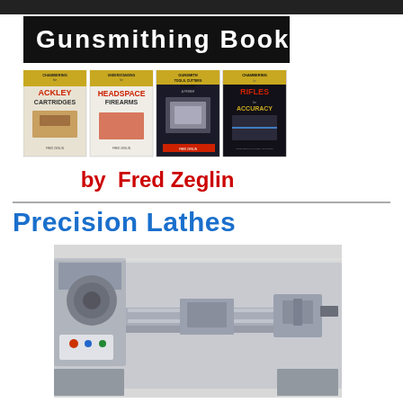[Figure (illustration): Black banner with bold white text reading 'Gunsmithing Books']
[Figure (photo): Four book covers by Fred Zeglin: 'Chambering for Ackley Cartridges', 'Understanding Headspace for Firearms', 'Gunsmith Tools, Cutters & Gauges - A Primer', 'Chambering Rifles for Accuracy']
by  Fred Zeglin
Precision Lathes
[Figure (photo): Photo of a precision metalworking lathe machine, gray in color]